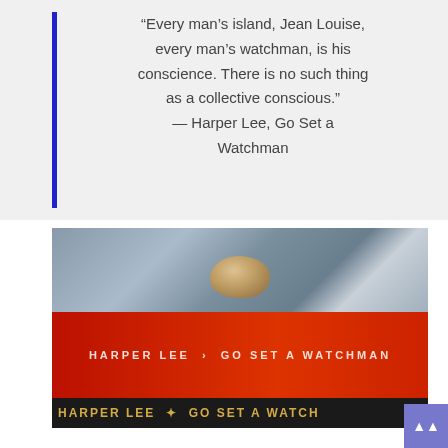“Every man’s island, Jean Louise, every man’s watchman, is his conscience. There is no such thing as a collective conscious.” — Harper Lee, Go Set a Watchman
[Figure (photo): Photo of the book 'Go Set a Watchman' by Harper Lee with a red cover, viewed from the side/top showing the spine text 'HARPER LEE GO SET A WATCHMAN', with a translucent orange-gold crystal or rock sitting on top of the book, against a lacy blue-grey fabric background.]